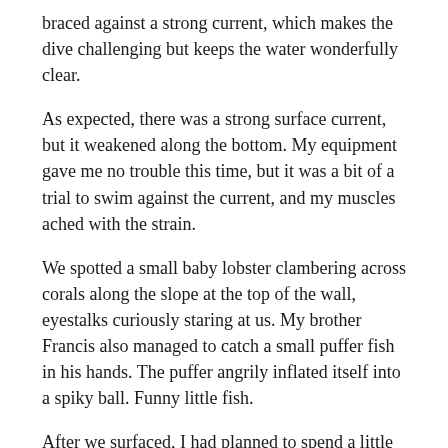braced against a strong current, which makes the dive challenging but keeps the water wonderfully clear.
As expected, there was a strong surface current, but it weakened along the bottom. My equipment gave me no trouble this time, but it was a bit of a trial to swim against the current, and my muscles ached with the strain.
We spotted a small baby lobster clambering across corals along the slope at the top of the wall, eyestalks curiously staring at us. My brother Francis also managed to catch a small puffer fish in his hands. The puffer angrily inflated itself into a spiky ball. Funny little fish.
After we surfaced, I had planned to spend a little time snorkeling around, but the water was so cold, and the surface current so strong, that my aching muscles decided against it.
3/18/2001, 8.30am
DIVE 53: Cathedral, Anilao
DEPTH (Avg/Max): 50 / 65 ft